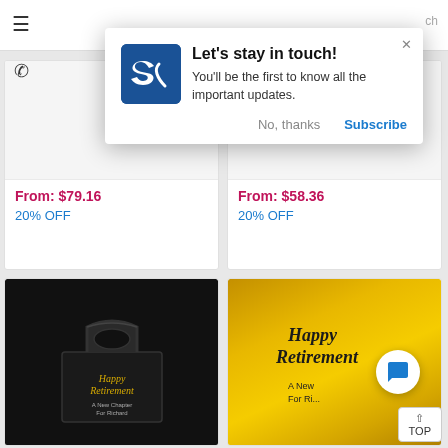[Figure (screenshot): E-commerce website screenshot showing a modal popup 'Let's stay in touch!' with logo, body text, and action buttons, overlaid on a product grid page with Happy Retirement gift boxes. Products show prices From: $79.16 (20% OFF) and From: $58.36 (20% OFF). Two additional product cards visible at bottom showing black gift box and gold bag both labeled Happy Retirement.]
Let's stay in touch!
You'll be the first to know all the important updates.
No, thanks
Subscribe
From: $79.16
20% OFF
From: $58.36
20% OFF